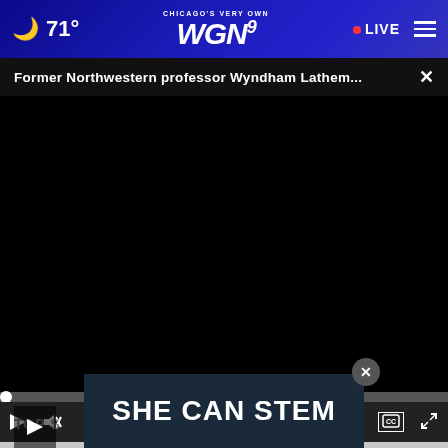71° CHICAGO'S VERY OWN WGN9 LIVE
Former Northwestern professor Wyndham Lathem...
[Figure (screenshot): Video player with black screen, progress bar, and playback controls showing 00:00]
TOP S
[Figure (screenshot): Advertisement banner reading SHE CAN STEM with a close button]